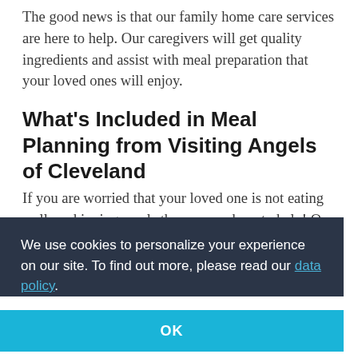The good news is that our family home care services are here to help. Our caregivers will get quality ingredients and assist with meal preparation that your loved ones will enjoy.
What's Included in Meal Planning from Visiting Angels of Cleveland
If you are worried that your loved one is not eating well or skipping meals then we are here to help! Our professionally trained caregivers
so
are
We use cookies to personalize your experience on our site. To find out more, please read our data policy.
OK
caregivers either accompany your loved